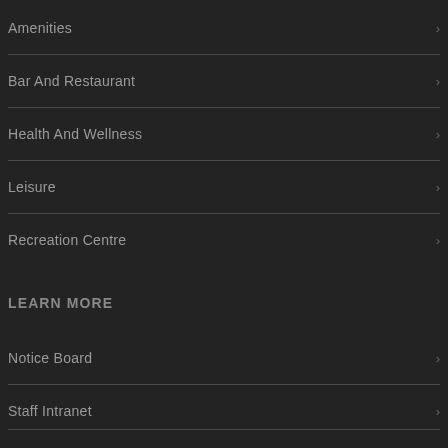Amenities
Bar And Restaurant
Health And Wellness
Leisure
Recreation Centre
LEARN MORE
Notice Board
Staff Intranet